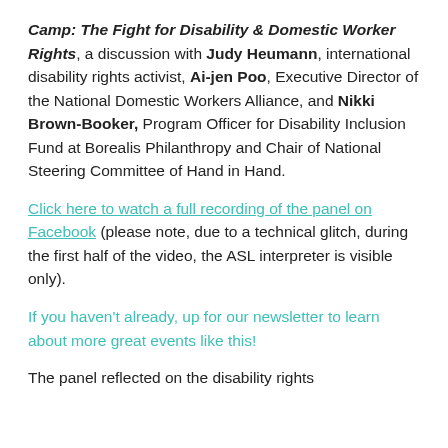Camp: The Fight for Disability & Domestic Worker Rights, a discussion with Judy Heumann, international disability rights activist, Ai-jen Poo, Executive Director of the National Domestic Workers Alliance, and Nikki Brown-Booker, Program Officer for Disability Inclusion Fund at Borealis Philanthropy and Chair of National Steering Committee of Hand in Hand.
Click here to watch a full recording of the panel on Facebook (please note, due to a technical glitch, during the first half of the video, the ASL interpreter is visible only).
If you haven't already, up for our newsletter to learn about more great events like this!
The panel reflected on the disability rights